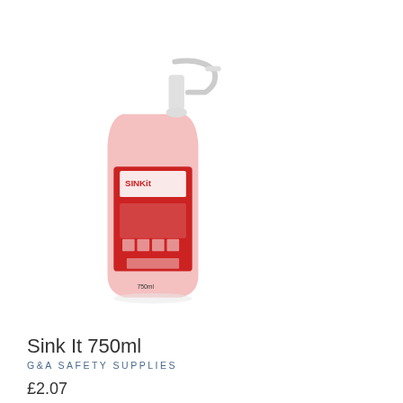[Figure (photo): A pink/red liquid spray bottle with 'Sink It' branding and a white trigger pump. Red label with safety symbols on the front. 750ml bottle.]
Sink It 750ml
G&A SAFETY SUPPLIES
£2.07
[Figure (photo): Four mop heads with coloured plastic connectors (yellow, blue, green, red) arranged side by side with white string/yarn mop fibres hanging down.]
Chat with us